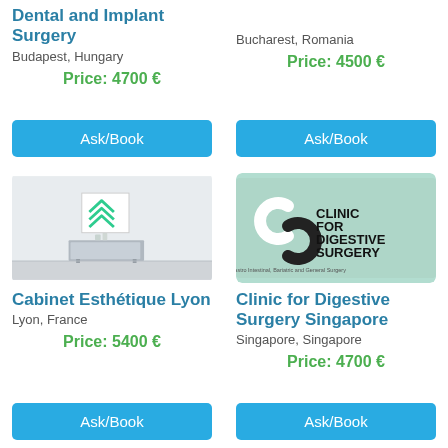Dental and Implant Surgery
Budapest, Hungary
Price: 4700 €
Ask/Book
[Figure (photo): Interior of a clinic or office - minimalist room with a cabinet and framed geometric chevron artwork on wall]
Cabinet Esthétique Lyon
Lyon, France
Price: 5400 €
Ask/Book
Bucharest, Romania
Price: 4500 €
Ask/Book
[Figure (logo): Clinic for Digestive Surgery logo on mint green background with abstract S-shape icon. Text: CLINIC FOR DIGESTIVE SURGERY. Subtitle: Gastro Intestinal, Bariatric and General Surgery]
Clinic for Digestive Surgery Singapore
Singapore, Singapore
Price: 4700 €
Ask/Book